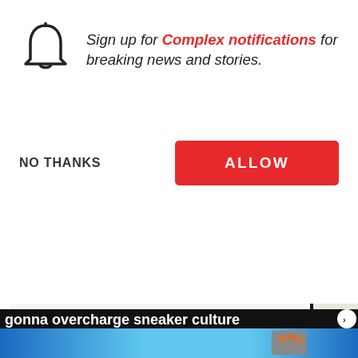Sign up for Complex notifications for breaking news and stories.
NO THANKS
ALLOW
the new n- should be c should hav from the sa exclusivity fountain co gonna overcharge sneaker culture
[Figure (screenshot): Top Articles panel showing SNACKED video thumbnail with three men and candy packaging]
[Figure (screenshot): Bottom advertisement bar with blue gradient background and sports image thumbnail]